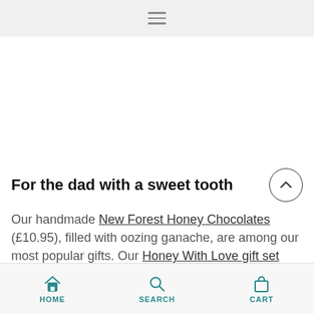Navigation menu bar
[Figure (photo): Product image placeholder area (white/light background)]
For the dad with a sweet tooth
Our handmade New Forest Honey Chocolates (£10.95), filled with oozing ganache, are among our most popular gifts. Our Honey With Love gift set (£12.95) packages the chocs with any greetings card from our selection. Like all our gift sets, Honey With Love can be personalised with your
HOME   SEARCH   CART